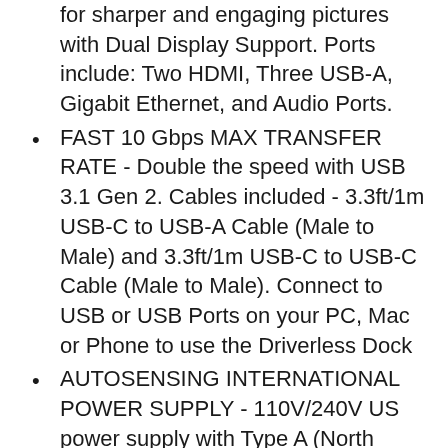for sharper and engaging pictures with Dual Display Support. Ports include: Two HDMI, Three USB-A, Gigabit Ethernet, and Audio Ports.
FAST 10 Gbps MAX TRANSFER RATE - Double the speed with USB 3.1 Gen 2. Cables included - 3.3ft/1m USB-C to USB-A Cable (Male to Male) and 3.3ft/1m USB-C to USB-C Cable (Male to Male). Connect to USB or USB Ports on your PC, Mac or Phone to use the Driverless Dock
AUTOSENSING INTERNATIONAL POWER SUPPLY - 110V/240V US power supply with Type A (North America/Japan), C (Europe/South America), G (UK/Ireland/Singapore) Adapter. 1-Year limited Warranty